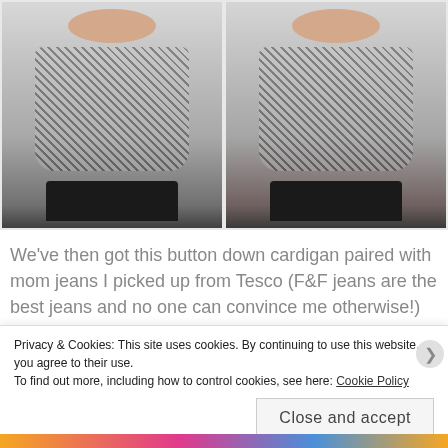[Figure (photo): Two side-by-side photos of a young woman wearing a black and white checked/houndstooth patterned dress with tie sleeves and black platform boots. Left photo: woman posing with one arm raised holding the sleeve tie. Right photo: woman posing with hands on hips facing forward.]
We've then got this button down cardigan paired with mom jeans I picked up from Tesco (F&F jeans are the best jeans and no one can convince me otherwise!) and some
Privacy & Cookies: This site uses cookies. By continuing to use this website, you agree to their use.
To find out more, including how to control cookies, see here: Cookie Policy
Close and accept